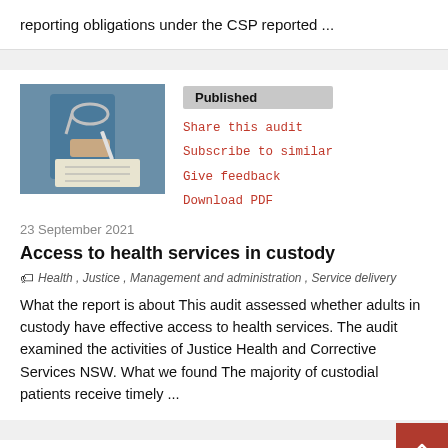reporting obligations under the CSP reported ...
[Figure (photo): Photo of a healthcare worker in scrubs writing in a notebook with a stethoscope around their neck, holding a pen over paperwork.]
Published
Share this audit
Subscribe to similar
Give feedback
Download PDF
23 September 2021
Access to health services in custody
Health , Justice , Management and administration , Service delivery
What the report is about This audit assessed whether adults in custody have effective access to health services. The audit examined the activities of Justice Health and Corrective Services NSW. What we found The majority of custodial patients receive timely ...